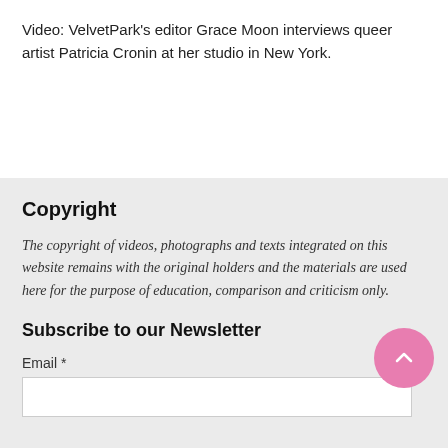Video: VelvetPark's editor Grace Moon interviews queer artist Patricia Cronin at her studio in New York.
Copyright
The copyright of videos, photographs and texts integrated on this website remains with the original holders and the materials are used here for the purpose of education, comparison and criticism only.
Subscribe to our Newsletter
Email *